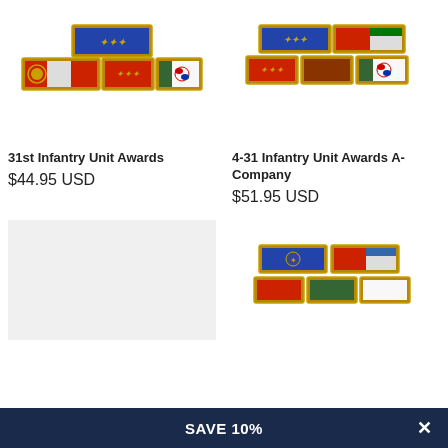[Figure (photo): 31st Infantry Unit Awards ribbon rack - gold-framed military ribbon bars arranged in stacked formation with blue, red, white and Korean flag ribbons]
[Figure (photo): 4-31 Infantry Unit Awards A-Company ribbon rack - gold-framed military ribbon bars in stacked formation with blue, red, green and Korean flag ribbons]
31st Infantry Unit Awards
$44.95 USD
4-31 Infantry Unit Awards A-Company
$51.95 USD
[Figure (photo): Gray placeholder image for a product]
[Figure (photo): Military ribbon rack with blue and red ribbons in gold frames, partially visible]
SAVE 10%